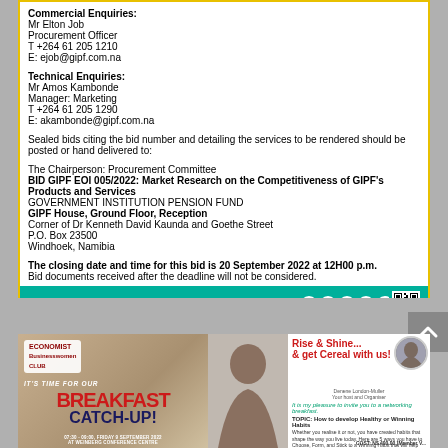Commercial Enquiries:
Mr Elton Job
Procurement Officer
T +264 61 205 1210
E: ejob@gipf.com.na
Technical Enquiries:
Mr Amos Kambonde
Manager: Marketing
T +264 61 205 1290
E: akambonde@gipf.com.na
Sealed bids citing the bid number and detailing the services to be rendered should be posted or hand delivered to:
The Chairperson: Procurement Committee
BID GIPF EOI 005/2022: Market Research on the Competitiveness of GIPF's Products and Services
GOVERNMENT INSTITUTION PENSION FUND
GIPF House, Ground Floor, Reception
Corner of Dr Kenneth David Kaunda and Goethe Street
P.O. Box 23500
Windhoek, Namibia
The closing date and time for this bid is 20 September 2022 at 12H00 p.m.
Bid documents received after the deadline will not be considered.
[Figure (infographic): GIPF advertisement footer with teal background showing Visit: www.gipf.com.na Email: info@gipf.com.na and social media icons (Facebook, Instagram, Twitter, YouTube, LinkedIn) and QR code]
[Figure (infographic): Economist Businesswomen Club Breakfast Catch-Up advertisement for Friday 9 September 2022 at Weinberg Conference Centre, featuring Rise & Shine and get Cereal with us! networking breakfast event with speaker Faritha Uiygwe on How to develop Healthy or Winning Habits]